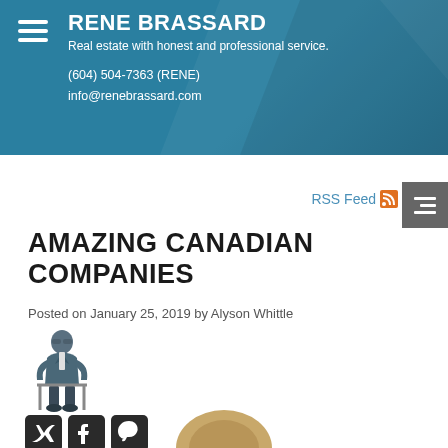RENE BRASSARD
Real estate with honest and professional service.
(604) 504-7363 (RENE)
info@renebrassard.com
RSS Feed
AMAZING CANADIAN COMPANIES
Posted on January 25, 2019 by Alyson Whittle
[Figure (photo): Author photo: man in suit sitting on chair]
[Figure (infographic): Social share icons: Twitter, Facebook, Pinterest]
[Figure (photo): Partial image at bottom of page, appears to be a circular/arc shape in tan/gold color]